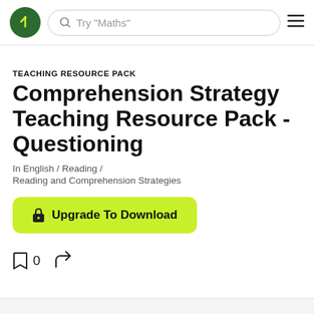Try "Maths"
TEACHING RESOURCE PACK
Comprehension Strategy Teaching Resource Pack - Questioning
In English / Reading /
Reading and Comprehension Strategies
Upgrade To Download
0